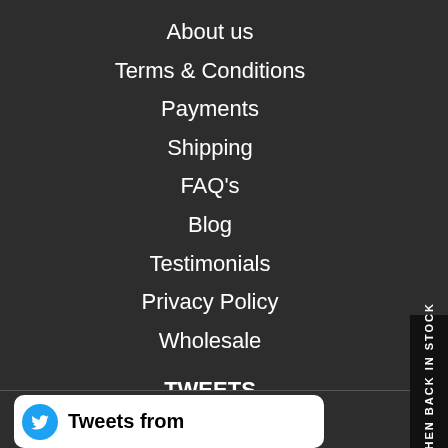About us
Terms & Conditions
Payments
Shipping
FAQ's
Blog
Testimonials
Privacy Policy
Wholesale
TWEETS
Tweets from
WHEN BACK IN STOCK